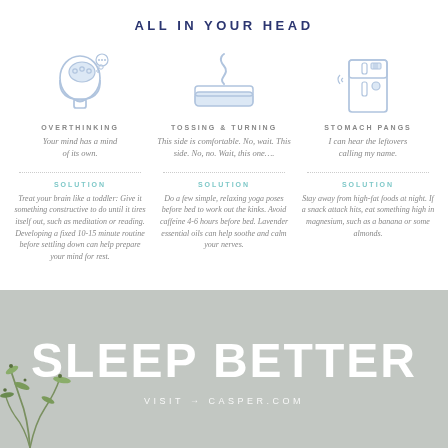ALL IN YOUR HEAD
[Figure (infographic): Three-column infographic with icons and text. Column 1: head with thought bubbles icon, 'OVERTHINKING' label, italic description 'Your mind has a mind of its own.', SOLUTION header in teal, solution text. Column 2: mattress with swirl icon, 'TOSSING & TURNING' label, italic description, SOLUTION header, solution text. Column 3: refrigerator icon, 'STOMACH PANGS' label, italic description, SOLUTION header, solution text.]
[Figure (infographic): Bottom banner with gray background, bold white text 'SLEEP BETTER', subtitle 'VISIT → CASPER.COM', and plant illustration in lower left corner.]